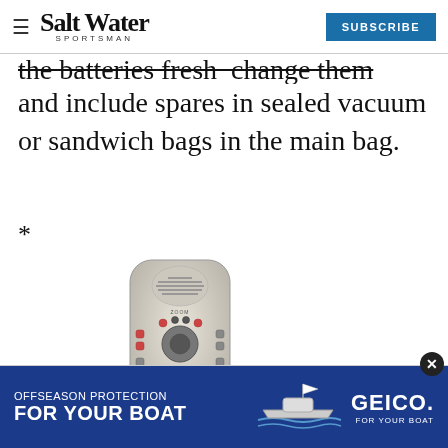Salt Water Sportsman — SUBSCRIBE
the batteries fresh — change them regularly and include spares in sealed vacuum or sandwich bags in the main bag.
*
[Figure (photo): Handheld GPS device (GPSmap 76C) silver/grey, showing buttons and small display screen]
[Figure (infographic): GEICO advertisement banner: OFFSEASON PROTECTION FOR YOUR BOAT — GEICO FOR YOUR BOAT]